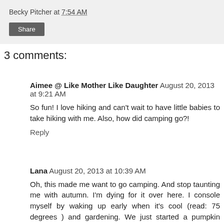Becky Pitcher at 7:54 AM
Share
3 comments:
Aimee @ Like Mother Like Daughter August 20, 2013 at 9:21 AM
So fun! I love hiking and can't wait to have little babies to take hiking with me. Also, how did camping go?!
Reply
Lana August 20, 2013 at 10:39 AM
Oh, this made me want to go camping. And stop taunting me with autumn. I'm dying for it over here. I console myself by waking up early when it's cool (read: 75 degrees ) and gardening. We just started a pumpkin patch so I'm pretty thrilled. But it will be 102 on Friday, so not that thrilled.